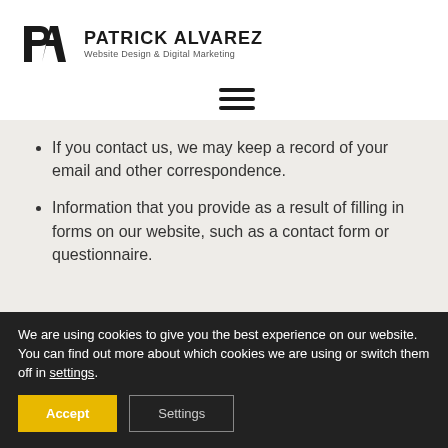[Figure (logo): Patrick Alvarez logo with stylized 'PA' monogram icon and text 'PATRICK ALVAREZ / Website Design & Digital Marketing']
[Figure (other): Hamburger menu icon with three horizontal lines]
If you contact us, we may keep a record of your email and other correspondence.
Information that you provide as a result of filling in forms on our website, such as a contact form or questionnaire.
We are using cookies to give you the best experience on our website.
You can find out more about which cookies we are using or switch them off in settings.
Accept
Settings